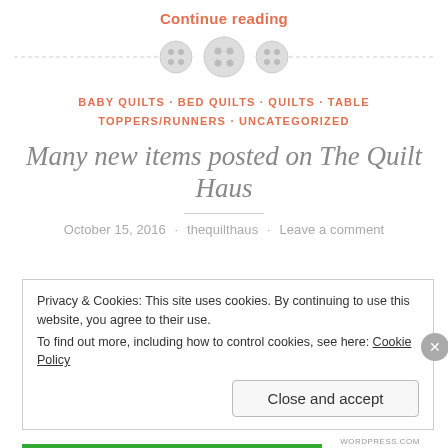Continue reading
[Figure (illustration): Three decorative button icons used as a section divider with dashed horizontal lines on each side]
BABY QUILTS · BED QUILTS · QUILTS · TABLE TOPPERS/RUNNERS · UNCATEGORIZED
Many new items posted on The Quilt Haus
October 15, 2016 · thequilthaus · Leave a comment
Privacy & Cookies: This site uses cookies. By continuing to use this website, you agree to their use.
To find out more, including how to control cookies, see here: Cookie Policy
Close and accept